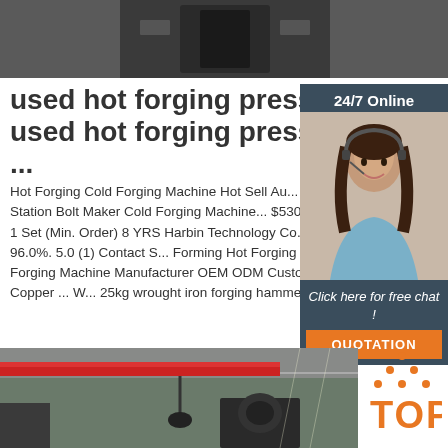[Figure (photo): Top photo showing dark industrial machinery/forging press equipment close-up]
used hot forging presses, used hot forging presses ...
Hot Forging Cold Forging Machine Hot Sell Au... Four-Station Bolt Maker Cold Forging Machine... $53000 Set. 1 Set (Min. Order) 8 YRS Harbin Technology Co., Ltd. 96.0%. 5.0 (1) Contact S... Forming Hot Forging Press Forging Machine Manufacturer OEM ODM Custom Copper ... W... 25kg wrought iron forging hammer ...
[Figure (photo): Sidebar photo of a woman with headset smiling, customer service representative]
24/7 Online
Click here for free chat !
QUOTATION
[Figure (photo): Get Price button - orange button]
[Figure (photo): Bottom photo of industrial forging facility with red overhead crane and forging equipment]
[Figure (logo): TOP logo with orange dot pattern above letters]